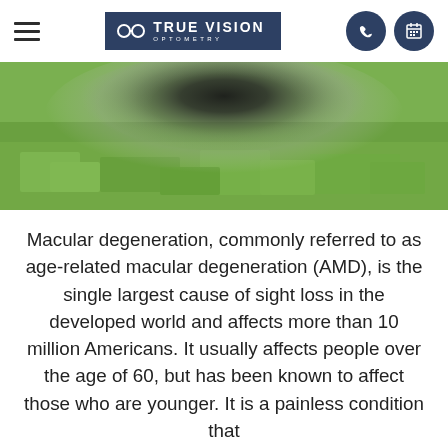True Vision Optometry
[Figure (photo): A grass field photograph with a blurred dark central area simulating the vision loss experienced with macular degeneration]
Macular degeneration, commonly referred to as age-related macular degeneration (AMD), is the single largest cause of sight loss in the developed world and affects more than 10 million Americans. It usually affects people over the age of 60, but has been known to affect those who are younger. It is a painless condition that